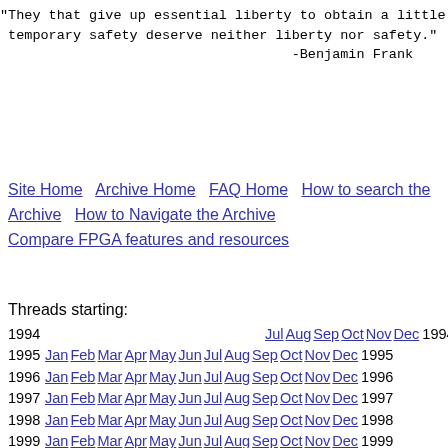"They that give up essential liberty to obtain a little temporary safety deserve neither liberty nor safety."
                                    -Benjamin Frank
Site Home   Archive Home   FAQ Home   How to search the Archive   How to Navigate the Archive   Compare FPGA features and resources
Threads starting:
1994   Jul Aug Sep Oct Nov Dec 1994
1995 Jan Feb Mar Apr May Jun Jul Aug Sep Oct Nov Dec 1995
1996 Jan Feb Mar Apr May Jun Jul Aug Sep Oct Nov Dec 1996
1997 Jan Feb Mar Apr May Jun Jul Aug Sep Oct Nov Dec 1997
1998 Jan Feb Mar Apr May Jun Jul Aug Sep Oct Nov Dec 1998
1999 Jan Feb Mar Apr May Jun Jul Aug Sep Oct Nov Dec 1999
2000 Jan Feb Mar Apr May Jun Jul Aug Sep Oct Nov Dec 2000
2001 Jan Feb Mar Apr May Jun Jul Aug Sep Oct Nov Dec 2001